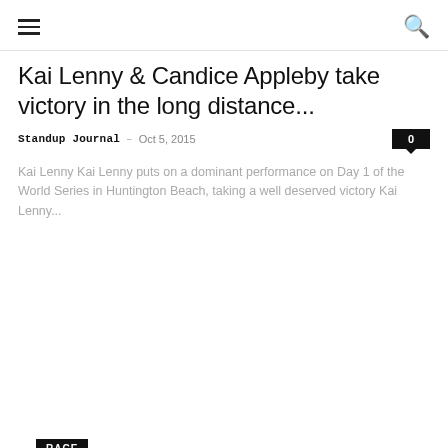☰  🔍
Kai Lenny & Candice Appleby take victory in the long distance...
Standup Journal  –  Oct 5, 2015    0
Kai Lenny Kai Lenny puts on a dominant performance on Day 1 of the World Series in Huntington Beach, taking a well deserved victory Kai Lenny...
RACE
Connor Baxter wins The 2015 St'Ives Bay Celtic